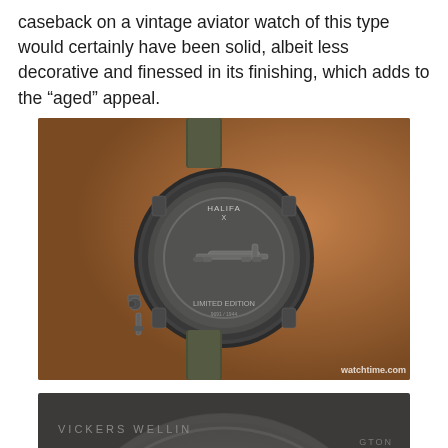caseback on a vintage aviator watch of this type would certainly have been solid, albeit less decorative and finessed in its finishing, which adds to the “aged” appeal.
[Figure (photo): Close-up photograph of the caseback of a vintage-style aviator watch (Halifax Limited Edition) showing an engraved Halifax bomber aircraft on the caseback, with an olive/khaki NATO strap and tan leather background. Watermark reads watchtime.com.]
[Figure (photo): Close-up macro photograph showing the caseback detail of the same Halifax Limited Edition watch. The word HALIFAX is prominently engraved at the top of the caseback, with a detailed relief of a Halifax bomber aircraft visible below.]